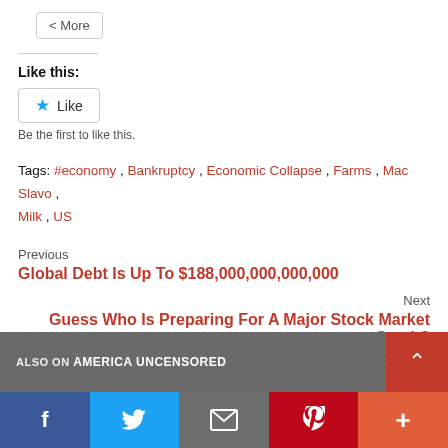More
Like this:
Like
Be the first to like this.
Tags: #economy, Bankruptcy, Economic Collapse, Farms, Mac Slavo, Milk, US
Previous
Global Debt Is Up To $188,000,000,000,000
Next
Guess Who Is Preparing For A Major Stock Market Crash?
ALSO ON AMERICA UNCENSORED